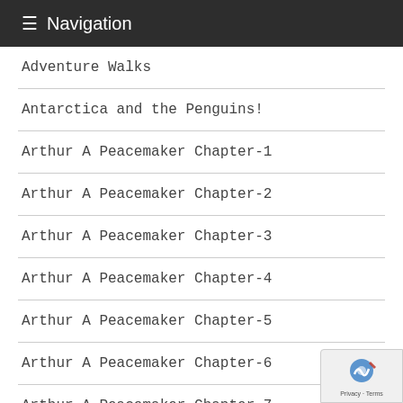≡ Navigation
Adventure Walks
Antarctica and the Penguins!
Arthur A Peacemaker Chapter-1
Arthur A Peacemaker Chapter-2
Arthur A Peacemaker Chapter-3
Arthur A Peacemaker Chapter-4
Arthur A Peacemaker Chapter-5
Arthur A Peacemaker Chapter-6
Arthur A Peacemaker Chapter-7